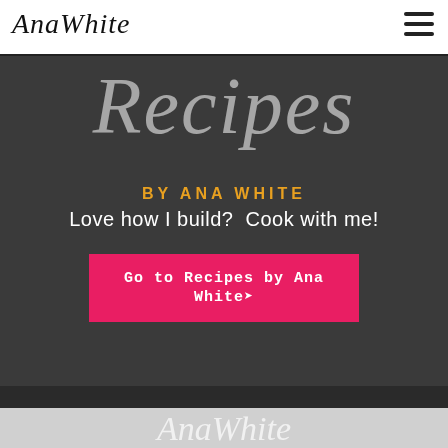AnaWhite
[Figure (illustration): Large cursive script text reading 'Recipes' partially visible, white with transparency, on dark background]
BY ANA WHITE
Love how I build?  Cook with me!
Go to Recipes by Ana White →
[Figure (illustration): AnaWhite cursive logo in white on light grey background at bottom of page]